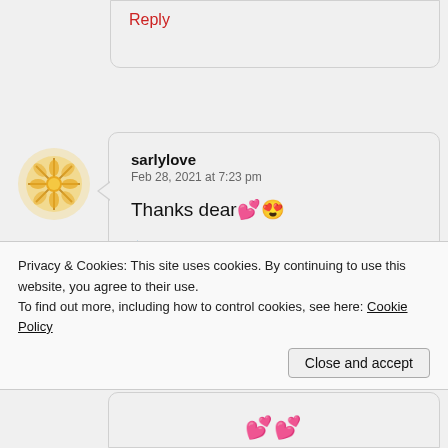Reply
[Figure (illustration): Yellow snowflake/mandala avatar icon for user sarlylove]
sarlylove
Feb 28, 2021 at 7:23 pm

Thanks dear 💕😍

★ Liked by 1 person

Reply
Privacy & Cookies: This site uses cookies. By continuing to use this website, you agree to their use.
To find out more, including how to control cookies, see here: Cookie Policy
Close and accept